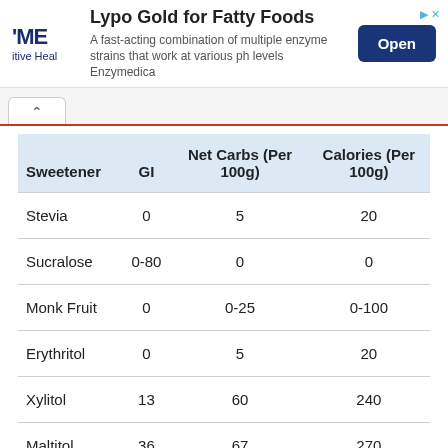[Figure (other): Advertisement banner for Lypo Gold for Fatty Foods by Enzymedica. Shows logo on left, ad text in center, and Open button on right.]
| Sweetener | GI | Net Carbs (Per 100g) | Calories (Per 100g) |
| --- | --- | --- | --- |
| Stevia | 0 | 5 | 20 |
| Sucralose | 0-80 | 0 | 0 |
| Monk Fruit | 0 | 0-25 | 0-100 |
| Erythritol | 0 | 5 | 20 |
| Xylitol | 13 | 60 | 240 |
| Maltitol | 36 | 67 | 270 |